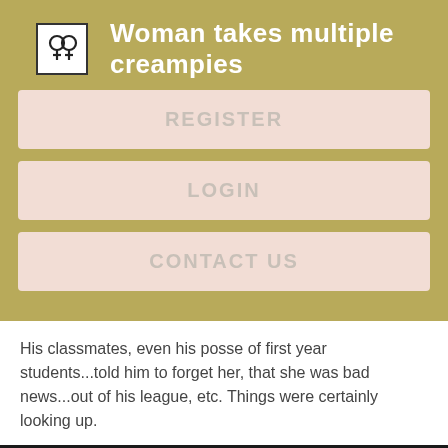Woman takes multiple creampies
REGISTER
LOGIN
CONTACT US
His classmates, even his posse of first year students...told him to forget her, that she was bad news...out of his league, etc. Things were certainly looking up.
[Figure (photo): Dark background photo with partial view of a blonde head at the bottom]